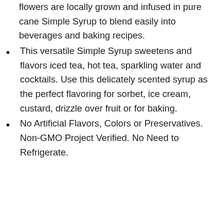flowers are locally grown and infused in pure cane Simple Syrup to blend easily into beverages and baking recipes.
This versatile Simple Syrup sweetens and flavors iced tea, hot tea, sparkling water and cocktails. Use this delicately scented syrup as the perfect flavoring for sorbet, ice cream, custard, drizzle over fruit or for baking.
No Artificial Flavors, Colors or Preservatives. Non-GMO Project Verified. No Need to Refrigerate.